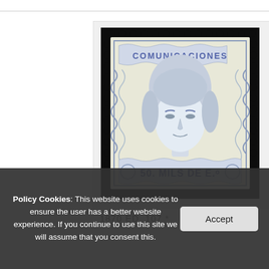[Figure (photo): A Spanish postage stamp from 1870, showing a classical female portrait (allegorical figure) with a crown, surrounded by decorative wavy borders. Text on stamp reads 'COMUNICACIONES' at top and '50. MILS DE E.o.' at bottom. The stamp is blue and cream colored, displayed against a dark background.]
1870 ED. 107 *
Policy Cookies: This website uses cookies to ensure the user has a better website experience. If you continue to use this site we will assume that you consent this.